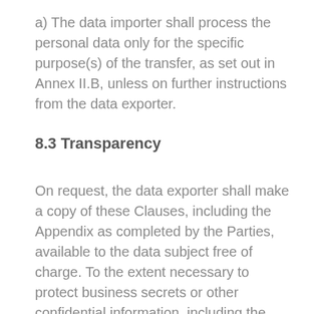a) The data importer shall process the personal data only for the specific purpose(s) of the transfer, as set out in Annex II.B, unless on further instructions from the data exporter.
8.3 Transparency
On request, the data exporter shall make a copy of these Clauses, including the Appendix as completed by the Parties, available to the data subject free of charge. To the extent necessary to protect business secrets or other confidential information, including the measures described in Annex III and personal data, the data exporter may redact part of the text of the Appendix to these Clauses prior to sharing a copy, but shall